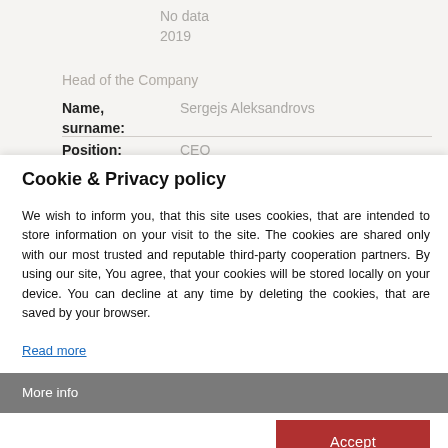No data
2019
Head of the Company
| Name, surname: | Sergejs Aleksandrovs |
| Position: | CEO |
Cookie & Privacy policy
We wish to inform you, that this site uses cookies, that are intended to store information on your visit to the site. The cookies are shared only with our most trusted and reputable third-party cooperation partners. By using our site, You agree, that your cookies will be stored locally on your device. You can decline at any time by deleting the cookies, that are saved by your browser.
Read more
More info
Accept